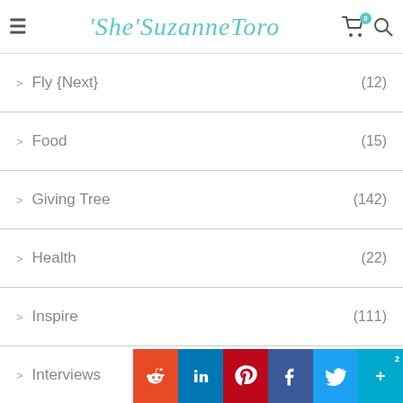She'SuzanneToro
Fly {Next} (12)
Food (15)
Giving Tree (142)
Health (22)
Inspire (111)
Interviews (4)
Lifestyle (11)
Love(self) (171)
Meditations
Social share bar: Reddit, LinkedIn, Pinterest, Facebook, Twitter, More